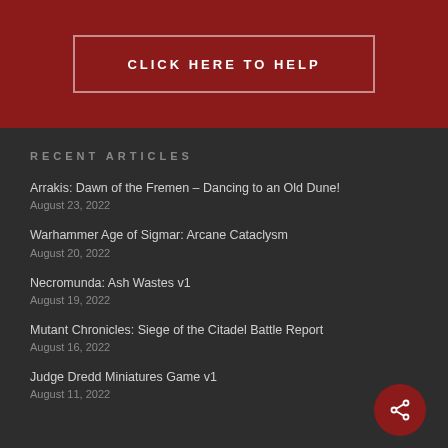CLICK HERE TO HELP
RECENT ARTICLES
Arrakis: Dawn of the Fremen – Dancing to an Old Dune!
August 23, 2022
Warhammer Age of Sigmar: Arcane Cataclysm
August 20, 2022
Necromunda: Ash Wastes v1
August 19, 2022
Mutant Chronicles: Siege of the Citadel Battle Report
August 16, 2022
Judge Dredd Miniatures Game v1
August 11, 2022